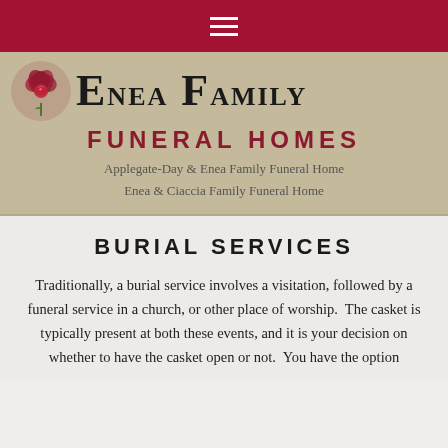[Figure (logo): Crimson navigation bar with hamburger menu icon (three white horizontal lines)]
[Figure (logo): Enea Family Funeral Homes logo with dark red rose emblem on left, large serif text 'ENEA FAMILY' on right, 'FUNERAL HOMES' in crimson spaced capitals below, subtext listing 'Applegate-Day & Enea Family Funeral Home' and 'Enea & Ciaccia Family Funeral Home' on tan background]
BURIAL SERVICES
Traditionally, a burial service involves a visitation, followed by a funeral service in a church, or other place of worship. The casket is typically present at both these events, and it is your decision on whether to have the casket open or not. You have the option